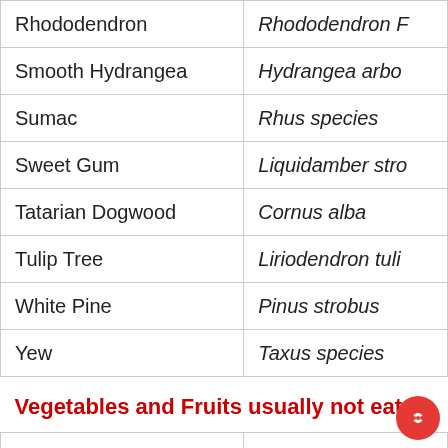| Common Name | Scientific Name |
| --- | --- |
| Rhododendron | Rhododendron F |
| Smooth Hydrangea | Hydrangea arbo |
| Sumac | Rhus species |
| Sweet Gum | Liquidamber stro |
| Tatarian Dogwood | Cornus alba |
| Tulip Tree | Liriodendron tuli |
| White Pine | Pinus strobus |
| Yew | Taxus species |
| Vegetables and Fruits usually not eaten |  |
| Asparagus | Asparagus offici |
| Currant &amp; Gooseberry | Ribes species |